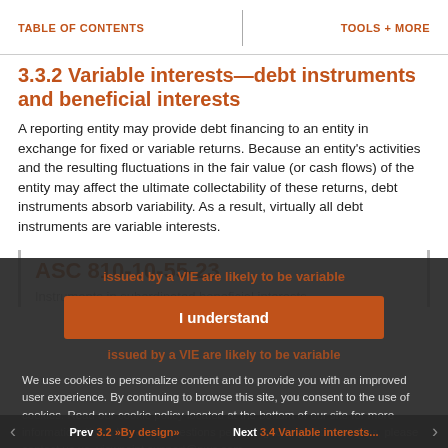TABLE OF CONTENTS | TOOLS + MORE
3.3.2 Variable interests—debt instruments and beneficial interests
A reporting entity may provide debt financing to an entity in exchange for fixed or variable returns. Because an entity's activities and the resulting fluctuations in the fair value (or cash flows) of the entity may affect the ultimate collectability of these returns, debt instruments absorb variability. As a result, virtually all debt instruments are variable interests.
ASC 810-10-55-23
Instruments in subordinated beneficial interests issued by a VIE are likely to be variable interests. The...
I understand
We use cookies to personalize content and to provide you with an improved user experience. By continuing to browse this site, you consent to the use of cookies. Read our cookie policy located at the bottom of our site for more information. If you have any questions pertaining to any of the cookies, please contact us us_viewpoint.support@pwc.com.
Prev 3.2 »By design» | Next 3.4 Variable interests...